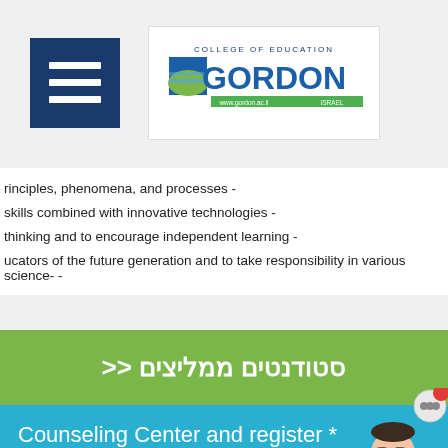[Figure (logo): Gordon College of Education logo with hamburger menu icon]
rinciples, phenomena, and processes -
skills combined with innovative technologies -
thinking and to encourage independent learning -
ucators of the future generation and to take responsibility in various science- -
סטודנטים ממליצים <<
Counseling Center and register *
[Figure (illustration): Social media icons: email, Facebook, info/chat; chatbot avatar with speech bubble]